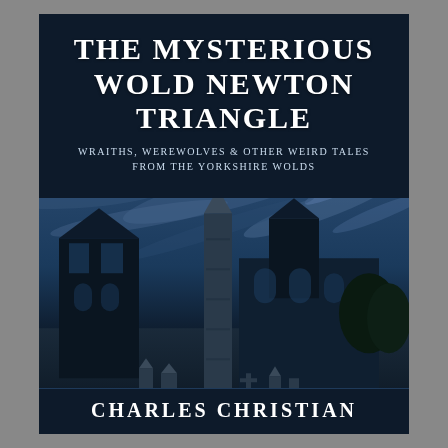THE MYSTERIOUS WOLD NEWTON TRIANGLE
WRAITHS, WEREWOLVES & OTHER WEIRD TALES FROM THE YORKSHIRE WOLDS
[Figure (photo): Blue-tinted dramatic photograph of a medieval church with a tall standing stone or obelisk in the foreground and gravestones visible, set against a dramatic cloudy sky. The image has a dark, moody blue-black tone reminiscent of infrared photography.]
CHARLES CHRISTIAN